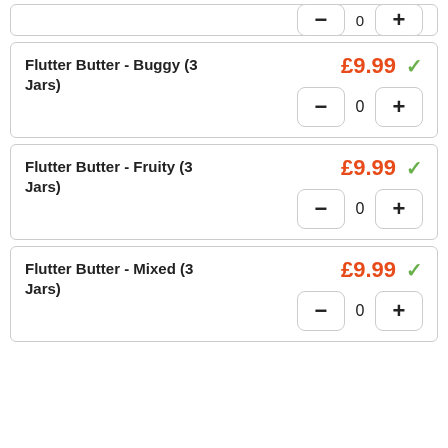[Figure (screenshot): Partial product card at top with quantity controls visible]
Flutter Butter - Buggy (3 Jars)
£9.99
Flutter Butter - Fruity (3 Jars)
£9.99
Flutter Butter - Mixed (3 Jars)
£9.99